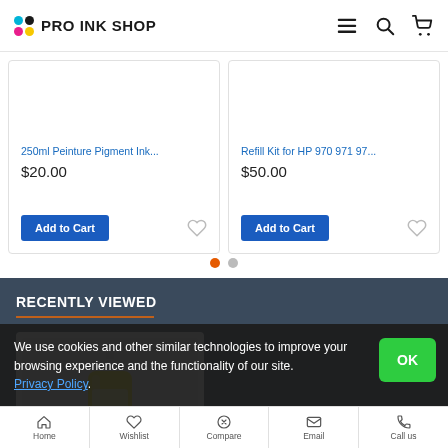PRO INK SHOP
[Figure (screenshot): Product card showing truncated product name link in blue, price $20.00, Add to Cart button, and heart/wishlist icon]
[Figure (screenshot): Product card showing truncated product name link in blue, price $50.00, Add to Cart button, and heart/wishlist icon]
RECENTLY VIEWED
[Figure (photo): Ink bottle with yellow liquid and white dropper cap on grey background]
We use cookies and other similar technologies to improve your browsing experience and the functionality of our site. Privacy Policy.
Home | Wishlist | Compare | Email | Call us